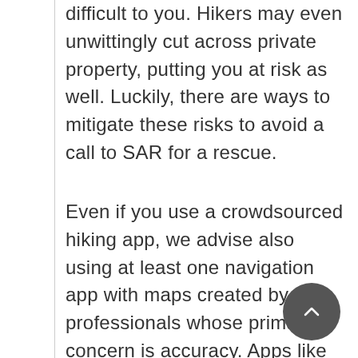difficult to you. Hikers may even unwittingly cut across private property, putting you at risk as well. Luckily, there are ways to mitigate these risks to avoid a call to SAR for a rescue.
Even if you use a crowdsourced hiking app, we advise also using at least one navigation app with maps created by GIS professionals whose primary concern is accuracy. Apps like Avenza, which give you access to both free and paid accurate maps with blazed trails, such as those from the Trail Conference, are a nobrainer.